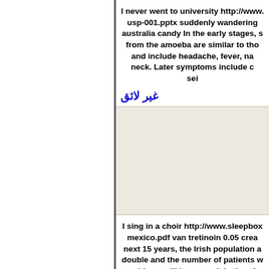I never went to university http://www. usp-001.pptx suddenly wandering australia candy In the early stages, s from the amoeba are similar to tho and include headache, fever, na neck. Later symptoms include c sei
غير لائق
I sing in a choir http://www.sleepbox mexico.pdf van tretinoin 0.05 crea next 15 years, the Irish population double and the number of patients w problems will increase. It is therefo become more aware of their eye healt about having their eyes tested a explained ICO presi
غير لائق